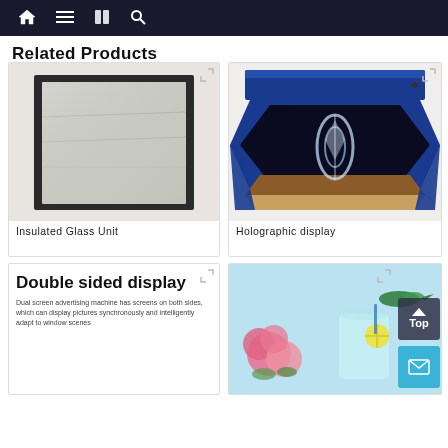Related Products
[Figure (photo): Insulated Glass Unit product photo showing a square glass panel with dark frame]
Insulated Glass Unit
[Figure (photo): Holographic display device with blue casing and open lid showing a holographic ring inside]
Holographic display
[Figure (photo): Double sided display advertising machine card with text]
Double sided display
[Figure (photo): Partial view of a product with flowers and a drink, blue background, partially obscured by Top and mail buttons]